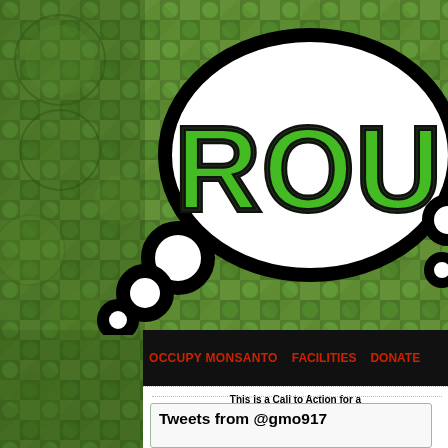[Figure (screenshot): Aerial photograph of green farmland fields with circular pivot irrigation patterns, used as page background]
[Figure (logo): Logo with large green graffiti-style text 'ROUN' (partial, cut off) inside a black thought bubble / speech bubble shape on the aerial background]
OCCUPY MONSANTO   FACILITIES   DONATE
This is a Call to Action for a Non-Hierarchical Occupation of Monsanto Every...
Whether you like it or not, chances are Monsanto contaminated the with chemicals and unlabeled GMOs. Monsanto controls much of t at the expense of food democracy worldwide. This site is dedicated citizens of the world to take action against Monsanto & it's enablers EPA, GMA, BIO, and the processed food companies that use Mons
Tweets from @gmo917